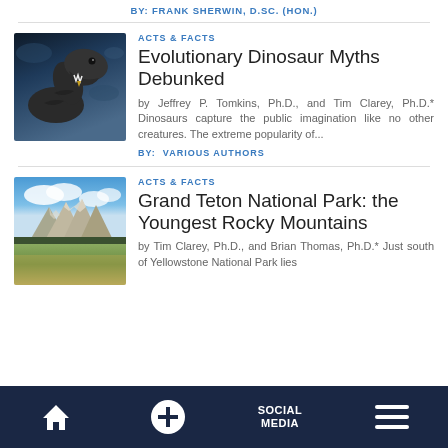BY: FRANK SHERWIN, D.SC. (HON.)
[Figure (photo): Close-up photo of a dinosaur (T-Rex style) with open mouth against a dramatic dark blue sky background]
ACTS & FACTS
Evolutionary Dinosaur Myths Debunked
by Jeffrey P. Tomkins, Ph.D., and Tim Clarey, Ph.D.* Dinosaurs capture the public imagination like no other creatures. The extreme popularity of...
BY:  VARIOUS AUTHORS
[Figure (photo): Photo of Grand Teton mountain range with blue sky and green meadow in the foreground]
ACTS & FACTS
Grand Teton National Park: the Youngest Rocky Mountains
by Tim Clarey, Ph.D., and Brian Thomas, Ph.D.* Just south of Yellowstone National Park lies
HOME  +  SOCIAL MEDIA  MENU